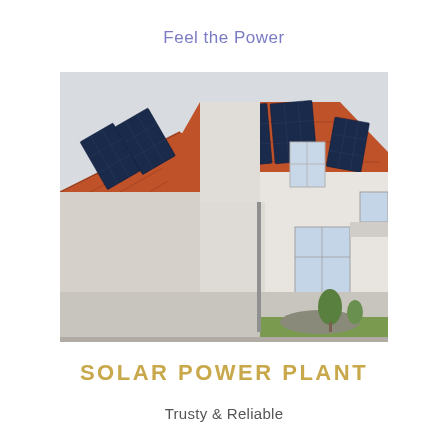Feel the Power
[Figure (photo): Residential house with solar photovoltaic panels installed on red-tiled roof, white facade, photographed from exterior showing front and side elevations with landscaping in foreground]
SOLAR POWER PLANT
Trusty & Reliable